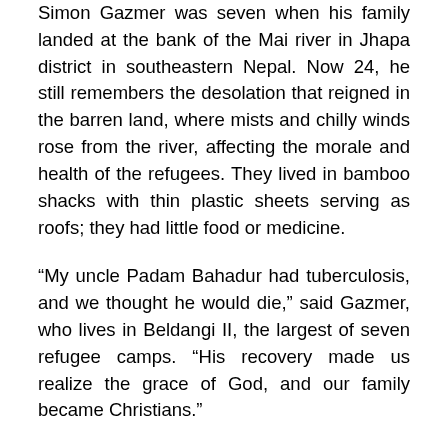Simon Gazmer was seven when his family landed at the bank of the Mai river in Jhapa district in southeastern Nepal. Now 24, he still remembers the desolation that reigned in the barren land, where mists and chilly winds rose from the river, affecting the morale and health of the refugees. They lived in bamboo shacks with thin plastic sheets serving as roofs; they had little food or medicine.
“My uncle Padam Bahadur had tuberculosis, and we thought he would die,” said Gazmer, who lives in Beldangi II, the largest of seven refugee camps. “His recovery made us realize the grace of God, and our family became Christians.”
The plight of the refugees improved after the U.N. High Commissioner for Refugees (UNHCR) stepped in, receiving permission from the government of Nepal to run the refugee camps. According to the UNHCR, there were